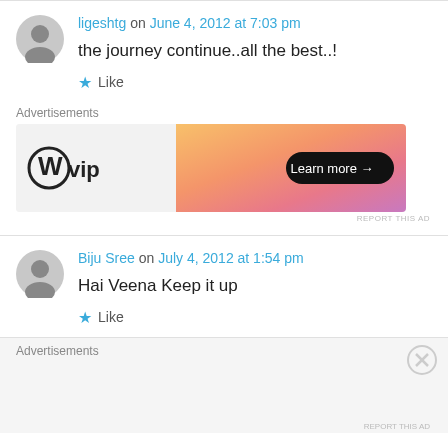ligeshtg on June 4, 2012 at 7:03 pm
the journey continue..all the best..!
Like
[Figure (other): WordPress VIP advertisement banner with Learn more button]
Biju Sree on July 4, 2012 at 1:54 pm
Hai Veena Keep it up
Like
Advertisements